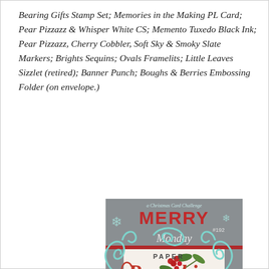Bearing Gifts Stamp Set; Memories in the Making PL Card; Pear Pizzazz & Whisper White CS; Memento Tuxedo Black Ink; Pear Pizzazz, Cherry Cobbler, Soft Sky & Smoky Slate Markers; Brights Sequins; Ovals Framelits; Little Leaves Sizzlet (retired); Banner Punch; Boughs & Berries Embossing Folder (on envelope.)
[Figure (illustration): Merry Monday #192 challenge badge — grey card with red 'MERRY' text, 'Monday' script, snowflake decorations, and a holiday holly/berries illustration in center. Text at bottom: Bonnie's Challenge: Make a Christmas card with berries on it.]
[Figure (logo): Paper Pumpkin logo — teal swirl/flourish design with 'PAPER' text above and red 'Pumpkin' text in script font.]